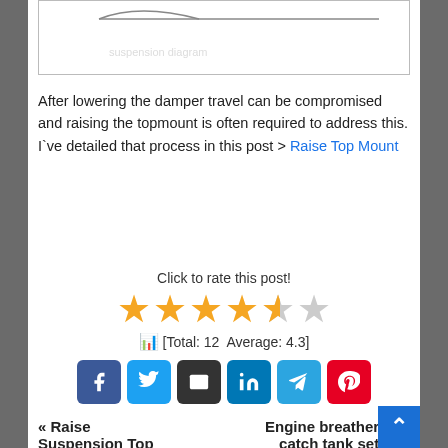[Figure (schematic): Partial engineering diagram showing a suspension component line drawing, partially visible at the top of the page.]
After lowering the damper travel can be compromised and raising the topmount is often required to address this. I`ve detailed that process in this post > Raise Top Mount
Click to rate this post!
[Total: 12  Average: 4.3]
« Raise Suspension Top
Engine breather and catch tank setup »